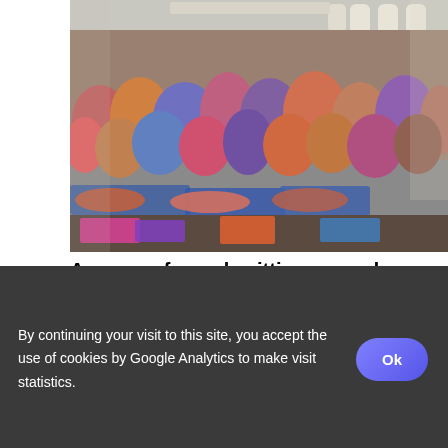[Figure (photo): A crowded indoor hall with many people sitting and lying on blue mats on the floor, with large windows visible in the background.]
A group of people sitting around a table
A group of people standing in a room. A group of people sitting around a table. A group of people sitting around a wooden table. A group of people standing around a table in a room
[Figure (photo): Partially visible second photo, mostly white/light colored, cut off at bottom of page.]
By continuing your visit to this site, you accept the use of cookies by Google Analytics to make visit statistics.